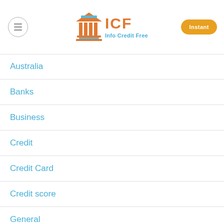[Figure (logo): ICF Info Credit Free logo with bank/pillar icon in orange and blue]
Australia
Banks
Business
Credit
Credit Card
Credit score
General
Insurance
iPhone
Japan